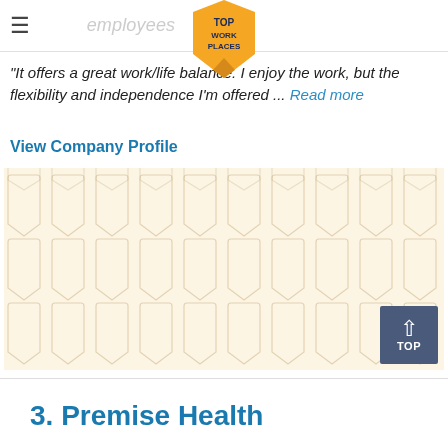TOP WORK PLACES
"It offers a great work/life balance. I enjoy the work, but the flexibility and independence I'm offered ... Read more
View Company Profile
[Figure (illustration): Grid of Top Work Places badge icons on a cream/beige background with a dark blue TOP button in the bottom-right corner]
3. Premise Health